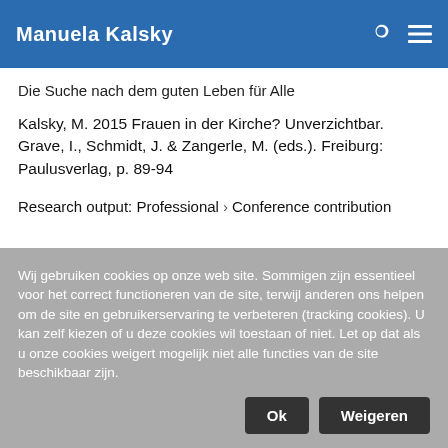Manuela Kalsky
Die Suche nach dem guten Leben für Alle
Kalsky, M. 2015 Frauen in der Kirche? Unverzichtbar. Grave, I., Schmidt, J. & Zangerle, M. (eds.). Freiburg: Paulusverlag, p. 89-94
Research output: Professional › Conference contribution
Wij gebruiken cookies op onze web site. Sommigen zijn essentieel voor het correct functioneren van de site, terwijl anderen ons helpen om de site en gebruikerservaring te verbeteren (tracking cookies). U kan zelf kiezen of u deze cookies wil toestaan of niet. Let op dat als u onze cookies weigert mogelijk niet alle functies van de site beschikbaar zijn.